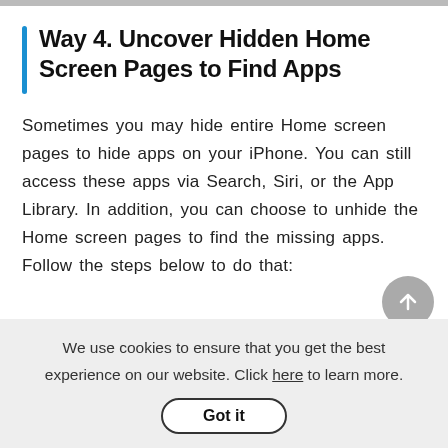Way 4. Uncover Hidden Home Screen Pages to Find Apps
Sometimes you may hide entire Home screen pages to hide apps on your iPhone. You can still access these apps via Search, Siri, or the App Library. In addition, you can choose to unhide the Home screen pages to find the missing apps. Follow the steps below to do that:
We use cookies to ensure that you get the best experience on our website. Click here to learn more.
Got it